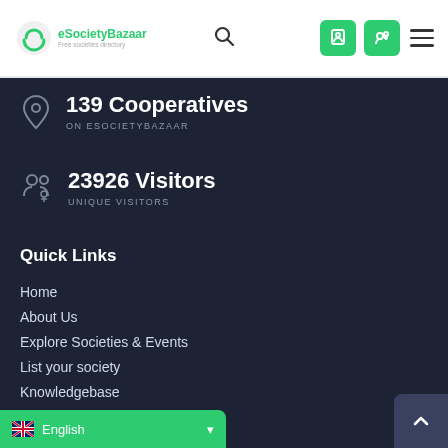eSocietyBazaar
139 Cooperatives ON ESOCIETYBAZAAR
23926 Visitors UNIQUE VISITORS
Quick Links
Home
About Us
Explore Societies & Events
List your society
Knowledgebase
Register of societies
News
English